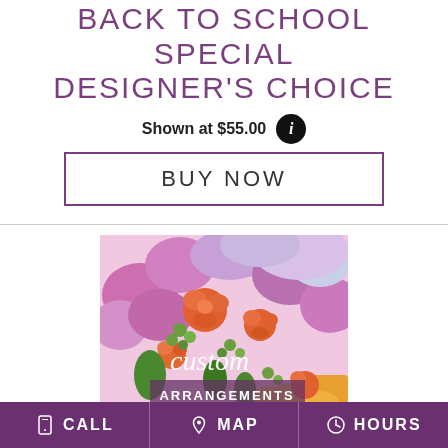BACK TO SCHOOL SPECIAL DESIGNER'S CHOICE
Shown at $55.00
BUY NOW
[Figure (photo): Colorful custom flower arrangement with orange roses, purple/pink blooms, and green berries with text overlay reading 'custom ARRANGEMENTS']
CALL  MAP  HOURS